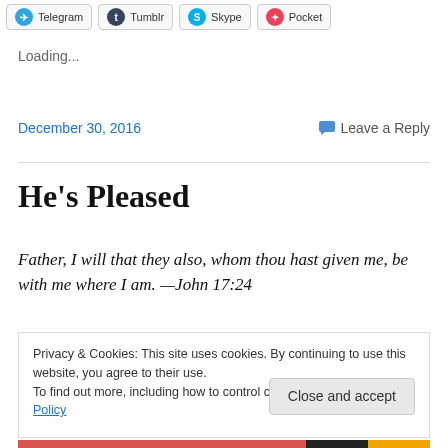[Figure (other): Social sharing buttons row: Telegram, Tumblr, Skype, Pocket]
Loading...
December 30, 2016   💬 Leave a Reply
He's Pleased
Father, I will that they also, whom thou hast given me, be with me where I am. —John 17:24
Privacy & Cookies: This site uses cookies. By continuing to use this website, you agree to their use.
To find out more, including how to control cookies, see here: Cookie Policy